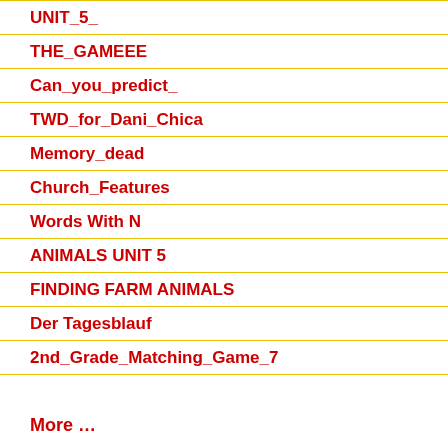UNIT_5_
THE_GAMEEE
Can_you_predict_
TWD_for_Dani_Chica
Memory_dead
Church_Features
Words With N
ANIMALS UNIT 5
FINDING FARM ANIMALS
Der Tagesblauf
2nd_Grade_Matching_Game_7
More …